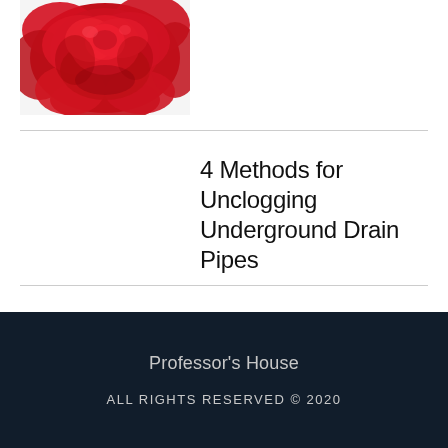[Figure (photo): Close-up photo of red roses on a white background]
4 Methods for Unclogging Underground Drain Pipes
Professor's House
ALL RIGHTS RESERVED © 2020